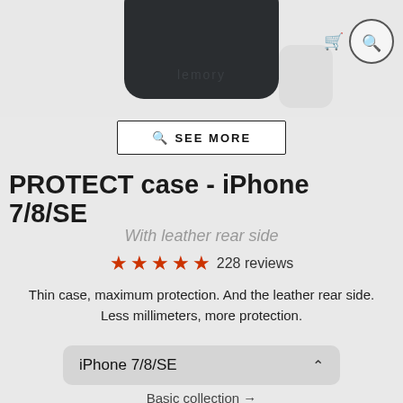[Figure (photo): Top portion of a dark-colored phone case (PROTECT case for iPhone 7/8/SE) with 'lemory' branding visible, shown against a light gray background. A shopping cart icon and search icon are visible in the top right corner.]
SEE MORE
PROTECT case - iPhone 7/8/SE
With leather rear side
228 reviews
Thin case, maximum protection. And the leather rear side. Less millimeters, more protection.
iPhone 7/8/SE
Basic collection →
[Figure (photo): Two partially visible color swatch circles at the bottom: one black/dark and one brown/tan.]